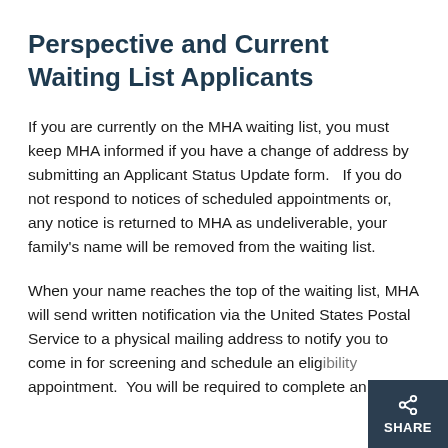Perspective and Current Waiting List Applicants
If you are currently on the MHA waiting list, you must keep MHA informed if you have a change of address by submitting an Applicant Status Update form.   If you do not respond to notices of scheduled appointments or, any notice is returned to MHA as undeliverable, your family's name will be removed from the waiting list.
When your name reaches the top of the waiting list, MHA will send written notification via the United States Postal Service to a physical mailing address to notify you to come in for screening and schedule an elig… appointment.  You will be required to complete an…